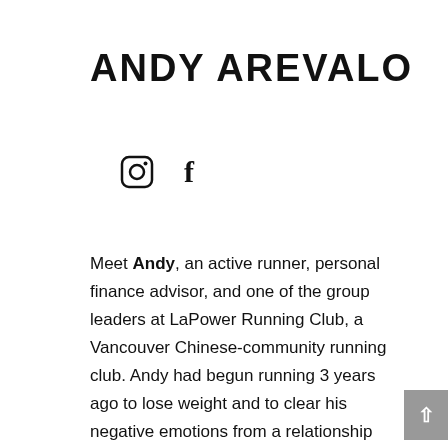ANDY AREVALO
[Figure (illustration): Instagram and Facebook social media icons]
Meet Andy, an active runner, personal finance advisor, and one of the group leaders at LaPower Running Club, a Vancouver Chinese-community running club. Andy had begun running 3 years ago to lose weight and to clear his negative emotions from a relationship breakdown. After losing more than 20 lbs, and becoming more confident and happy overall, Andy ran his first BMO Vancouver Marathon in 2017. It was challenging indeed for him (finish time was 4:28). Since then, he has been